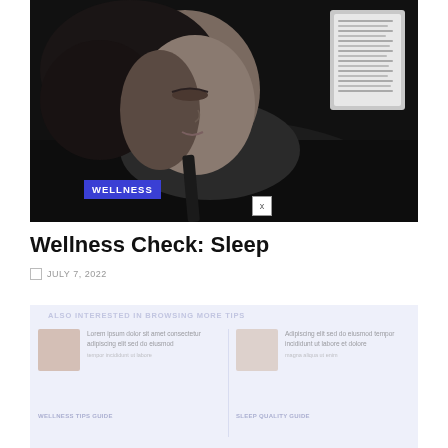[Figure (photo): Black and white photo of a woman sleeping, lying on her side with eyes closed. A book or e-reader is visible in the background. A blue 'WELLNESS' label badge is overlaid in the lower left of the image, and a small white close button with 'x' appears near the center-bottom of the image.]
Wellness Check: Sleep
JULY 7, 2022
[Figure (screenshot): Faded/partially visible related content widget with light blue-purple background showing two article cards side by side with small thumbnail images and text, and footer labels for related wellness articles.]